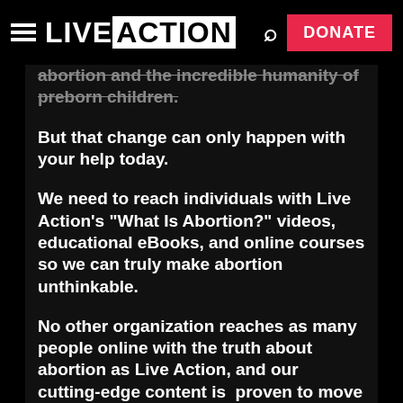LIVE ACTION — DONATE
abortion and the incredible humanity of preborn children.
But that change can only happen with your help today.
We need to reach individuals with Live Action's "What Is Abortion?" videos, educational eBooks, and online courses so we can truly make abortion unthinkable.
No other organization reaches as many people online with the truth about abortion as Live Action, and our cutting-edge content is  proven to move people from pro-abortion to pro-life - and save lives!
If this article strengthened your conviction that abortion must